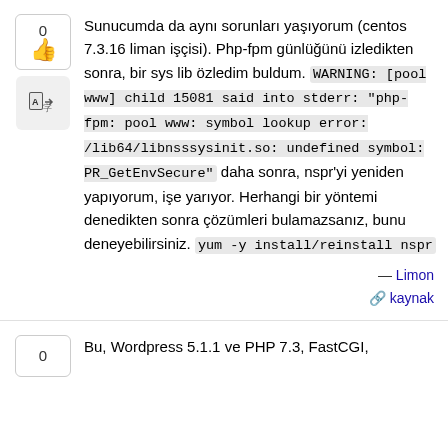Sunucumda da aynı sorunları yaşıyorum (centos 7.3.16 liman işçisi). Php-fpm günlüğünü izledikten sonra, bir sys lib özledim buldum. WARNING: [pool www] child 15081 said into stderr: "php-fpm: pool www: symbol lookup error: /lib64/libnsssysinit.so: undefined symbol: PR_GetEnvSecure" daha sonra, nspr'yi yeniden yapıyorum, işe yarıyor. Herhangi bir yöntemi denedikten sonra çözümleri bulamazsanız, bunu deneyebilirsiniz. yum -y install/reinstall nspr
— Limon
kaynak
Bu, Wordpress 5.1.1 ve PHP 7.3, FastCGI,